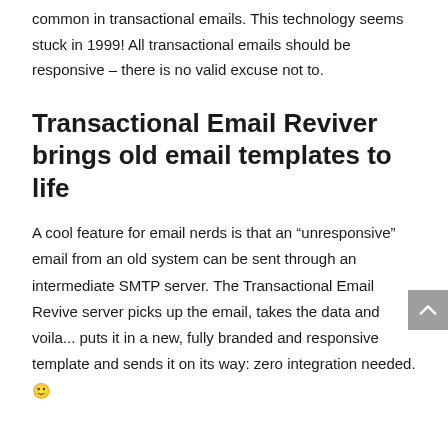common in transactional emails. This technology seems stuck in 1999! All transactional emails should be responsive – there is no valid excuse not to.
Transactional Email Reviver brings old email templates to life
A cool feature for email nerds is that an “unresponsive” email from an old system can be sent through an intermediate SMTP server. The Transactional Email Revive server picks up the email, takes the data and voila... puts it in a new, fully branded and responsive template and sends it on its way: zero integration needed. 🙂